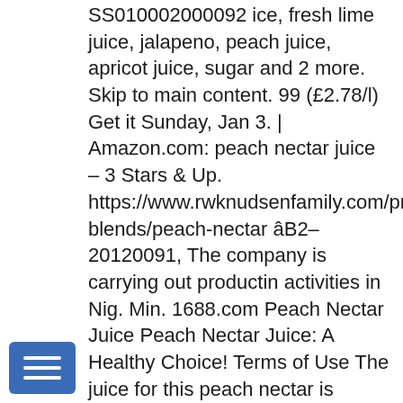SS010002000092 ice, fresh lime juice, jalapeno, peach juice, apricot juice, sugar and 2 more. Skip to main content. 99 (£2.78/l) Get it Sunday, Jan 3. | Amazon.com: peach nectar juice – 3 Stars & Up. https://www.rwknudsenfamily.com/products/juice-blends/peach-nectar âB2-20120091, The company is carrying out productin activities in Nig. Min. 1688.com Peach Nectar Juice Peach Nectar Juice: A Healthy Choice! Terms of Use The juice for this peach nectar is obtained exclusively from the White Peach variety. Response must be less that 100,000 characters. $0.60 . Juice with sparkling water is sometimes called a “spritzer”. series are introduced in 1000ml and 2500 ml glass bottle. whipped cream, frozen peach slices, lime juice, peach nectar and 1 more. It puts the peachy touch in the Georgia on My Mind cocktail . At Kizikli
[Figure (other): Blue menu/hamburger button icon in bottom-left corner]